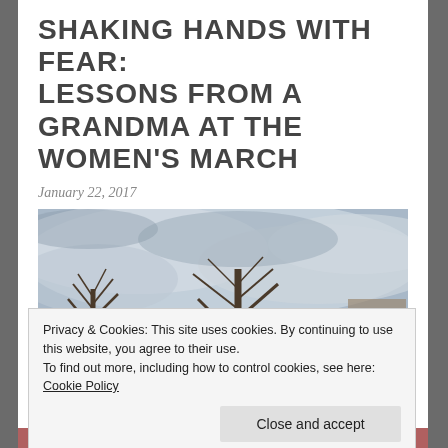SHAKING HANDS WITH FEAR: LESSONS FROM A GRANDMA AT THE WOMEN'S MARCH
January 22, 2017
[Figure (photo): Outdoor photograph of bare winter trees against a cloudy blue-grey sky, taken at the Women's March. Signs and people partially visible in the lower portion.]
Privacy & Cookies: This site uses cookies. By continuing to use this website, you agree to their use.
To find out more, including how to control cookies, see here: Cookie Policy
[Figure (photo): Partial bottom photo showing a crowd of people at the Women's March.]